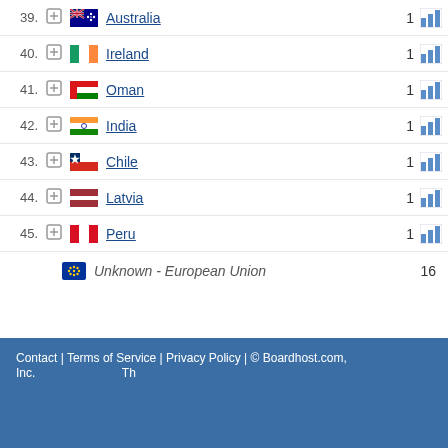39. Australia 1
40. Ireland 1
41. Oman 1
42. India 1
43. Chile 1
44. Latvia 1
45. Peru 1
Unknown - European Union 16
Contact | Terms of Service | Privacy Policy | © Boardhost.com, Inc.  Th